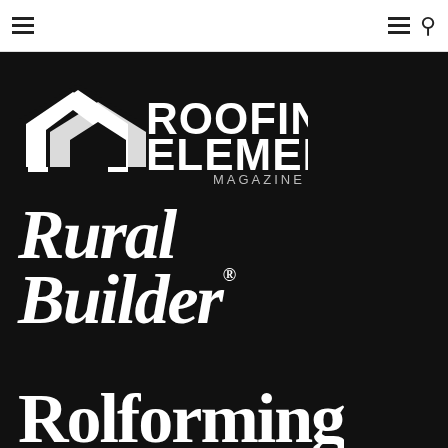[Figure (logo): Navigation bar with hamburger menu icons and search icon on white background]
[Figure (logo): Roofing Elements Magazine logo in white on black background, featuring roof/house silhouette icon]
[Figure (logo): Rural Builder magazine logo in large white bold italic serif text on black background]
[Figure (logo): Rolforming magazine/brand logo in large white bold serif text on black background, partially visible]